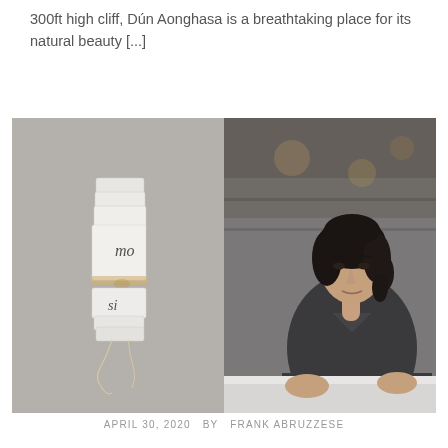300ft high cliff, Dún Aonghasa is a breathtaking place for its natural beauty [...]
[Figure (photo): Two side-by-side photographs: left shows folded/rolled white papers tied with twine string on a grey background with handwritten text visible; right shows a woman with dark curly hair wearing a dark grey t-shirt, sitting at a white table in what appears to be a restaurant or café setting.]
APRIL 30, 2020   BY   FRANK ABRUZZESE